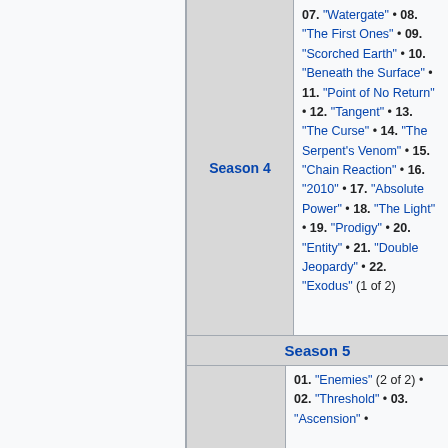| Season | Episodes |
| --- | --- |
| Season 4 | 07. "Watergate" • 08. "The First Ones" • 09. "Scorched Earth" • 10. "Beneath the Surface" • 11. "Point of No Return" • 12. "Tangent" • 13. "The Curse" • 14. "The Serpent's Venom" • 15. "Chain Reaction" • 16. "2010" • 17. "Absolute Power" • 18. "The Light" • 19. "Prodigy" • 20. "Entity" • 21. "Double Jeopardy" • 22. "Exodus" (1 of 2) |
| Season 5 | 01. "Enemies" (2 of 2) • 02. "Threshold" • 03. "Ascension" • |